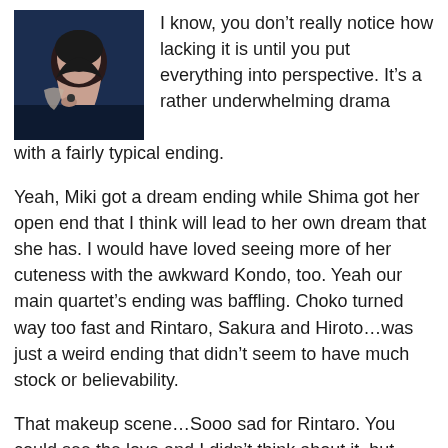[Figure (photo): Small avatar/profile photo of a person with dark hair against a dark blue background, appearing to be a female figure looking downward.]
I know, you don’t really notice how lacking it is until you put everything into perspective. It’s a rather underwhelming drama with a fairly typical ending.
Yeah, Miki got a dream ending while Shima got her open end that I think will lead to her own dream that she has. I would have loved seeing more of her cuteness with the awkward Kondo, too. Yeah our main quartet’s ending was baffling. Choko turned way too fast and Rintaro, Sakura and Hiroto…was just a weird ending that didn’t seem to have much stock or believability.
That makeup scene…Sooo sad for Rintaro. You could see the love and I didn’t think about it, but you’re right. It was like he was sending her